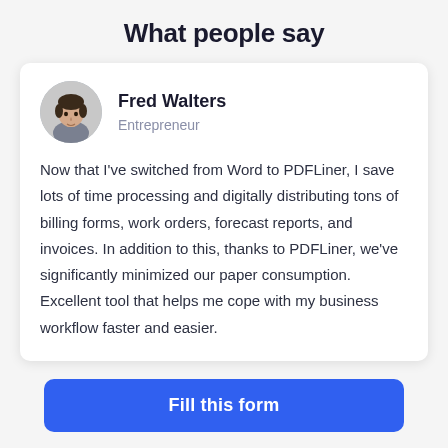What people say
Fred Walters
Entrepreneur

Now that I've switched from Word to PDFLiner, I save lots of time processing and digitally distributing tons of billing forms, work orders, forecast reports, and invoices. In addition to this, thanks to PDFLiner, we've significantly minimized our paper consumption. Excellent tool that helps me cope with my business workflow faster and easier.
Fill this form